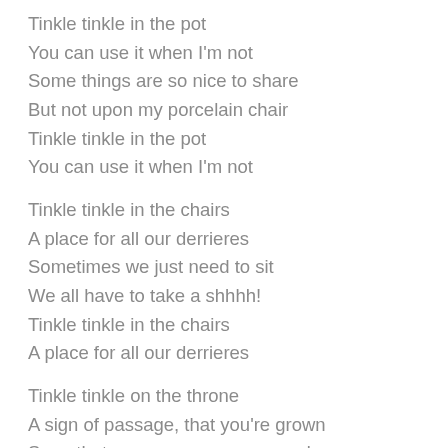Tinkle tinkle in the pot
You can use it when I'm not
Some things are so nice to share
But not upon my porcelain chair
Tinkle tinkle in the pot
You can use it when I'm not

Tinkle tinkle in the chairs
A place for all our derrieres
Sometimes we just need to sit
We all have to take a shhhh!
Tinkle tinkle in the chairs
A place for all our derrieres

Tinkle tinkle on the throne
A sign of passage, that you're grown
Soon that passage once more ends